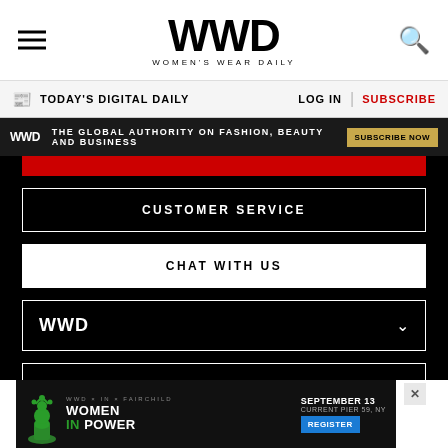WWD WOMEN'S WEAR DAILY
TODAY'S DIGITAL DAILY  LOG IN  SUBSCRIBE
WWD - THE GLOBAL AUTHORITY ON FASHION, BEAUTY AND BUSINESS  SUBSCRIBE NOW
CUSTOMER SERVICE
CHAT WITH US
WWD
LEGAL
FOLLOW US
[Figure (screenshot): Bottom advertisement banner for Women In Power event, September 13, Current Pier 59, NY with Register button and X close button]